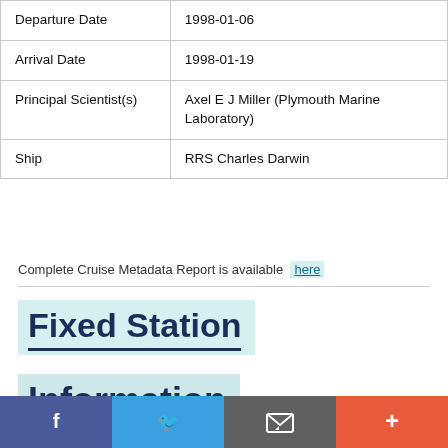| Departure Date | 1998-01-06 |
| Arrival Date | 1998-01-19 |
| Principal Scientist(s) | Axel E J Miller (Plymouth Marine Laboratory) |
| Ship | RRS Charles Darwin |
Complete Cruise Metadata Report is available here
Fixed Station
Information